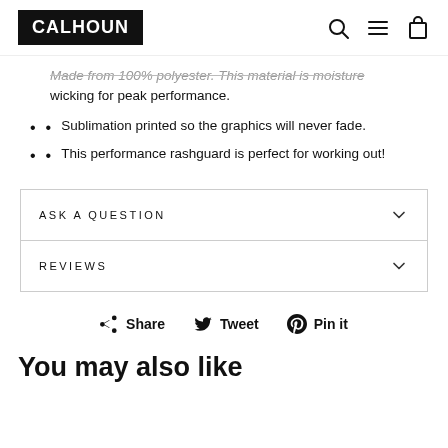CALHOUN
wicking for peak performance.
Sublimation printed so the graphics will never fade.
This performance rashguard is perfect for working out!
ASK A QUESTION
REVIEWS
Share  Tweet  Pin it
You may also like